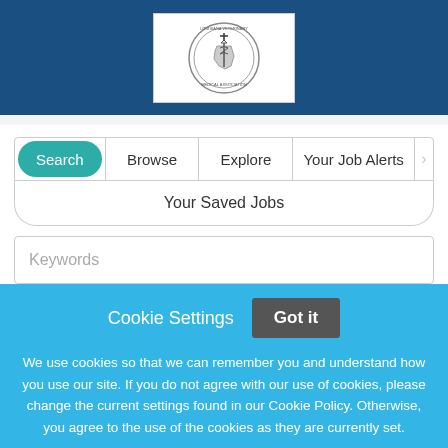[Figure (logo): Louisiana Veterinary Medical Association circular logo with state outline and caduceus symbol]
Search | Browse | Explore | Your Job Alerts
Your Saved Jobs
Keywords
Cookie Settings
Got it
We use cookies so that we can remember you and understand how you use our site. If you do not agree with our use of cookies, please change the current settings found in our Cookie Policy. Otherwise, you agree to the use of the cookies as they are currently set.